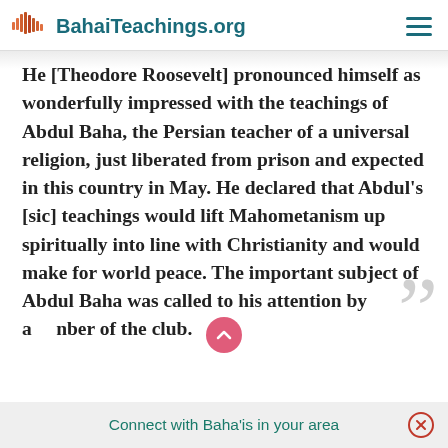BahaiTeachings.org
He [Theodore Roosevelt] pronounced himself as wonderfully impressed with the teachings of Abdul Baha, the Persian teacher of a universal religion, just liberated from prison and expected in this country in May. He declared that Abdul's [sic] teachings would lift Mahometanism up spiritually into line with Christianity and would make for world peace. The important subject of Abdul Baha was called to his attention by a member of the club.
Connect with Baha'is in your area